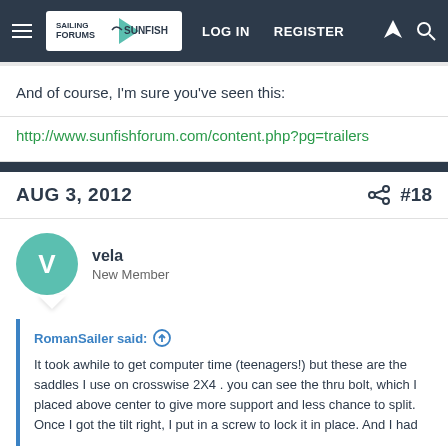Sailing Sunfish Forums — LOG IN  REGISTER
And of course, I'm sure you've seen this:
http://www.sunfishforum.com/content.php?pg=trailers
AUG 3, 2012  #18
vela
New Member
RomanSailer said: ↑

It took awhile to get computer time (teenagers!) but these are the saddles I use on crosswise 2X4 . you can see the thru bolt, which I placed above center to give more support and less chance to split. Once I got the tilt right, I put in a screw to lock it in place. And I had